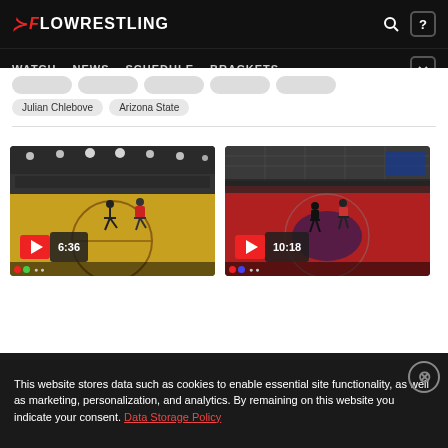FLOWRESTLING — WATCH | NEWS | SCHEDULE | BRACKETS
Julian Chlebove
Arizona State
[Figure (screenshot): Wrestling match video thumbnail showing wrestlers on a yellow mat in an arena, duration badge 6:36, play button visible]
[Figure (screenshot): Wrestling match video thumbnail showing wrestlers on a red mat in a gymnasium, duration badge 10:18, play button visible]
This website stores data such as cookies to enable essential site functionality, as well as marketing, personalization, and analytics. By remaining on this website you indicate your consent. Data Storage Policy